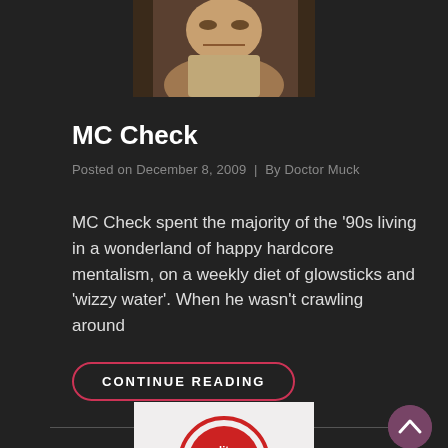[Figure (photo): Partial photo of a person's face at top of page]
MC Check
Posted on December 8, 2009  |  By Doctor Muck
MC Check spent the majority of the '90s living in a wonderland of happy hardcore mentalism, on a weekly diet of glowsticks and 'wizzy water'. When he wasn't crawling around
CONTINUE READING
[Figure (logo): Partial logo visible at bottom of page]